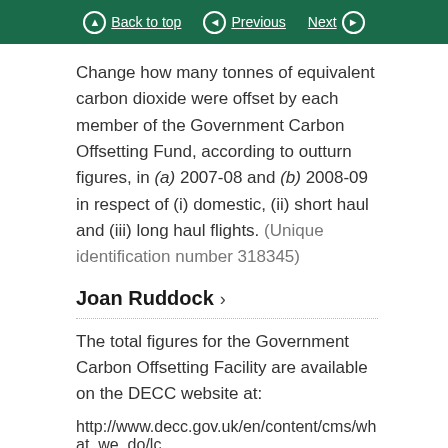Back to top  Previous  Next
Change how many tonnes of equivalent carbon dioxide were offset by each member of the Government Carbon Offsetting Fund, according to outturn figures, in (a) 2007-08 and (b) 2008-09 in respect of (i) domestic, (ii) short haul and (iii) long haul flights. (Unique identification number 318345)
Joan Ruddock
The total figures for the Government Carbon Offsetting Facility are available on the DECC website at:
http://www.decc.gov.uk/en/content/cms/what_we_do/lc...
The following table breaks these data down by...